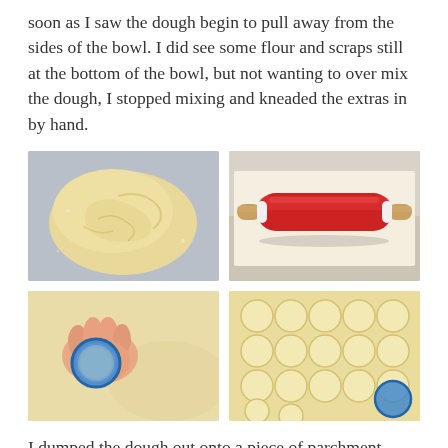soon as I saw the dough begin to pull away from the sides of the bowl. I did see some flour and scraps still at the bottom of the bowl, but not wanting to over mix the dough, I stopped mixing and kneaded the extras in by hand.
[Figure (photo): Ball of pale yellow pastry dough on a floured surface]
[Figure (photo): Red silicone rolling pin with wooden handle resting on parchment paper on a granite countertop]
[Figure (photo): Hand pressing a round blue cookie cutter into rolled-out pale dough]
[Figure (photo): Many small round cut-out dough circles arranged on a floured surface with a blue round cutter nearby]
I dumped the dough out onto a piece of parchment paper and used my favorite rolling